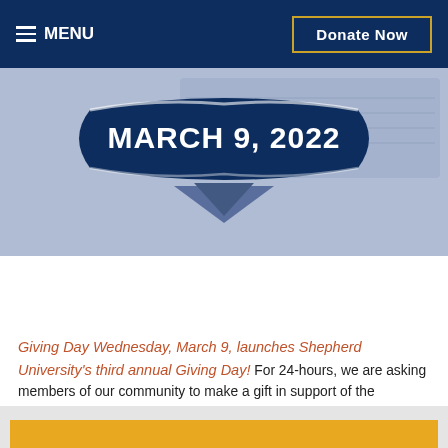MENU | Donate Now
[Figure (illustration): A banner graphic showing 'MARCH 9, 2022' in white bold text on a dark navy ribbon/shield shape with a blue chevron below, overlaid on a subtle tech/laptop background.]
Donate Now
Giving Day Wednesday, March 9, launches Shepherd University's third annual Giving Day! For 24-hours, we are asking members of our community to make a gift in support of the programs, scholarships, and experiences that make Shepherd so special.
[Figure (photo): Bottom partial image showing a yellow bar and partial figures/silhouettes on a light gray background.]